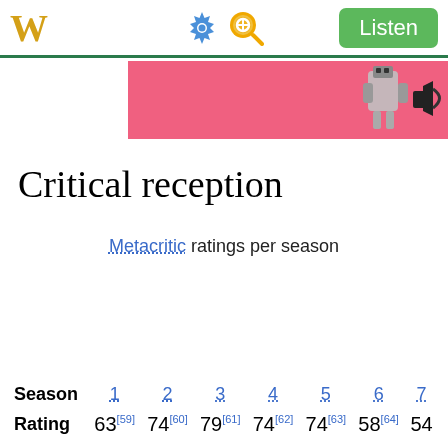W [Wikipedia logo] [settings icon] [search icon] Listen
[Figure (illustration): Partial banner image with pink/coral background showing stylized characters or icons in black and white]
Critical reception
Metacritic ratings per season
| Season | 1 | 2 | 3 | 4 | 5 | 6 | 7 |
| --- | --- | --- | --- | --- | --- | --- | --- |
| Rating | 63[59] | 74[60] | 79[61] | 74[62] | 74[63] | 58[64] | 54 |